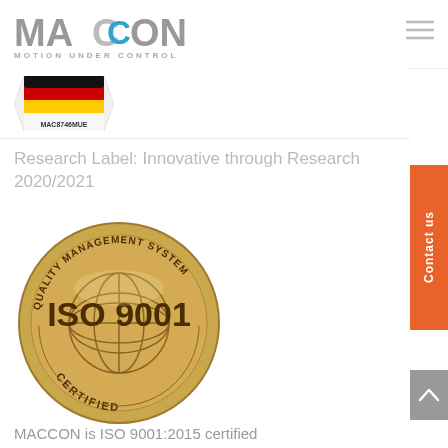MACCON MOTION UNDER CONTROL
[Figure (logo): MACCON logo with blue C letter and tagline MOTION UNDER CONTROL]
[Figure (other): Research label badge with German flag colors and text MAC8746MUE]
Research Label: Innovative through Research 2020/2021
[Figure (other): ISO 9001 Quality Management System Certified gold seal badge]
MACCON is ISO 9001:2015 certified